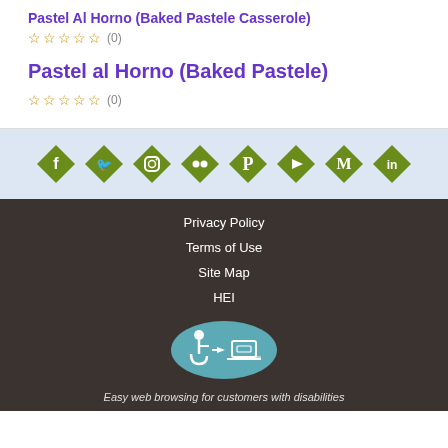Pastel al Horno (Baked Pastele)
☆☆☆☆☆ (0)
[Figure (infographic): Row of 8 green diamond-shaped social media icons: Facebook, Twitter, Instagram, Flickr, Pinterest, YouTube, Medium, LinkedIn]
Privacy Policy
Terms of Use
Site Map
HEI
[Figure (logo): Accessibility icon showing wheelchair symbol with arrow and laptop/keyboard symbol inside teal oval badge]
Easy web browsing for customers with disabilities